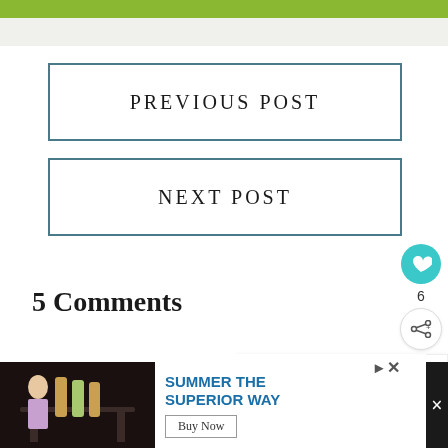[Figure (screenshot): Green header bar at top of webpage]
PREVIOUS POST
NEXT POST
[Figure (other): Teal heart/like button icon with count 6 and share button]
5 Comments
[Figure (other): What's Next promotional box showing Casual Friday: Turmeric... with circular food image]
Cynthia Keagy on August 2, 2017 at 10:52 pm
[Figure (screenshot): Advertisement banner: SUMMER THE SUPERIOR WAY with Buy Now button]